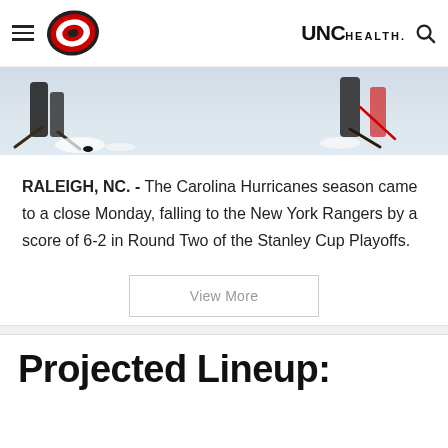Carolina Hurricanes | UNC Health
[Figure (photo): Ice hockey action photo showing players near goal with ice spray]
RALEIGH, NC. - The Carolina Hurricanes season came to a close Monday, falling to the New York Rangers by a score of 6-2 in Round Two of the Stanley Cup Playoffs.
View More
Projected Lineup: